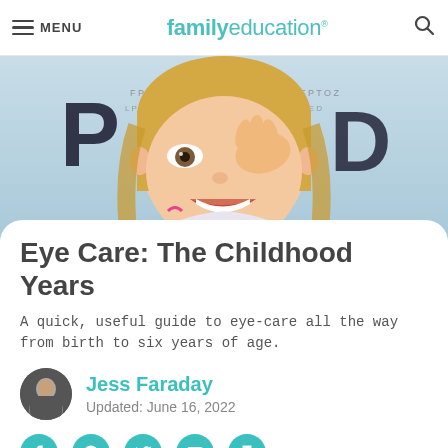MENU | familyeducation
[Figure (photo): A smiling young blonde girl covering one eye with her hand, standing in front of an eye chart showing letters P and D. The image is styled in a bright, cheerful tone.]
Eye Care: The Childhood Years
A quick, useful guide to eye-care all the way from birth to six years of age.
Jess Faraday
Updated: June 16, 2022